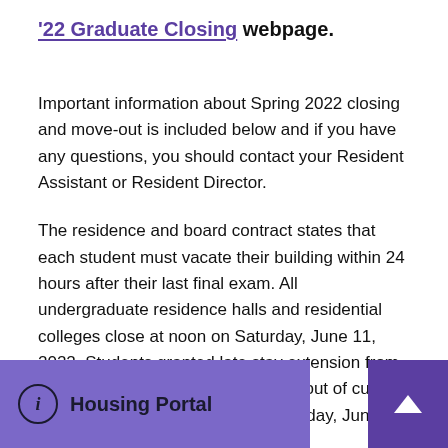'22 Graduate Closing webpage.
Important information about Spring 2022 closing and move-out is included below and if you have any questions, you should contact your Resident Assistant or Resident Director.
The residence and board contract states that each student must vacate their building within 24 hours after their last final exam. All undergraduate residence halls and residential colleges close at noon on Saturday, June 11, 2022. Students granted late stay extension from the groups listed below must move out of current assignments by 12:00 p.m. on Tuesday, June 14, 2022. Students in residential summer programs or contract will have the ability to